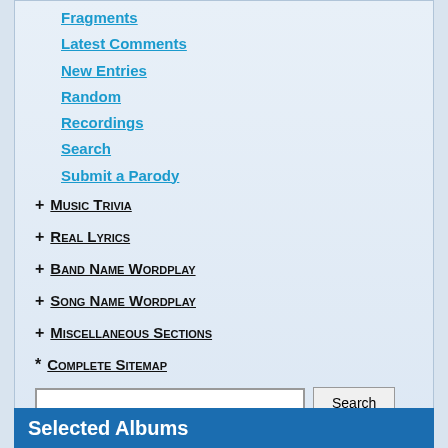Fragments
Latest Comments
New Entries
Random
Recordings
Search
Submit a Parody
+ Music Trivia
+ Real Lyrics
+ Band Name Wordplay
+ Song Name Wordplay
+ Miscellaneous Sections
* Complete Sitemap
Selected Albums